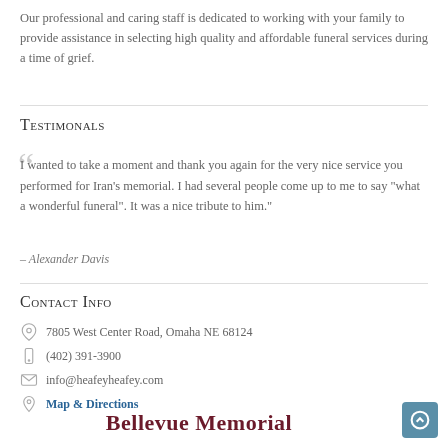Our professional and caring staff is dedicated to working with your family to provide assistance in selecting high quality and affordable funeral services during a time of grief.
Testimonials
I wanted to take a moment and thank you again for the very nice service you performed for Iran's memorial. I had several people come up to me to say "what a wonderful funeral". It was a nice tribute to him.
– Alexander Davis
Contact Info
7805 West Center Road, Omaha NE 68124
(402) 391-3900
info@heafeyheafey.com
Map & Directions
Bellevue Memorial